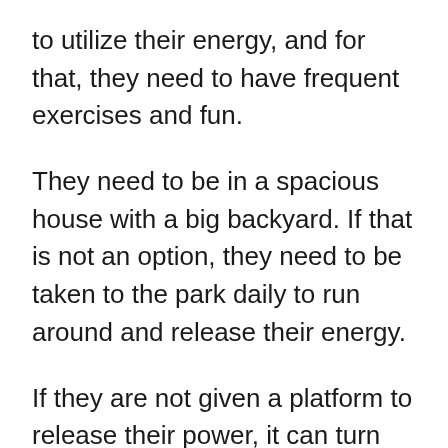to utilize their energy, and for that, they need to have frequent exercises and fun.
They need to be in a spacious house with a big backyard. If that is not an option, they need to be taken to the park daily to run around and release their energy.
If they are not given a platform to release their power, it can turn into negative energy, and they tend to take it out in the house.